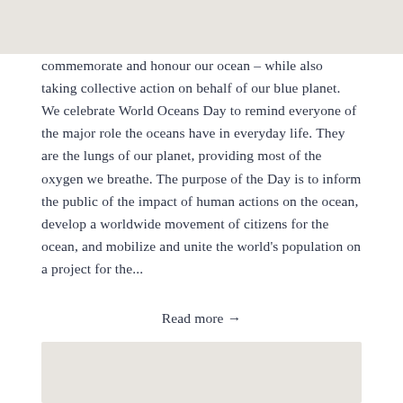commemorate and honour our ocean – while also taking collective action on behalf of our blue planet. We celebrate World Oceans Day to remind everyone of the major role the oceans have in everyday life. They are the lungs of our planet, providing most of the oxygen we breathe. The purpose of the Day is to inform the public of the impact of human actions on the ocean, develop a worldwide movement of citizens for the ocean, and mobilize and unite the world's population on a project for the...
Read more →